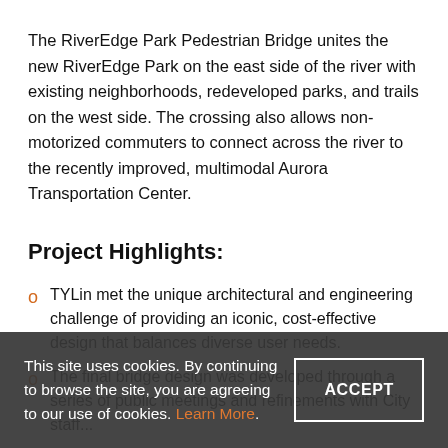The RiverEdge Park Pedestrian Bridge unites the new RiverEdge Park on the east side of the river with existing neighborhoods, redeveloped parks, and trails on the west side. The crossing also allows non-motorized commuters to connect across the river to the recently improved, multimodal Aurora Transportation Center.
Project Highlights:
TYLin met the unique architectural and engineering challenge of providing an iconic, cost-effective design that balances diverse user needs.
The final bridge design was developed through a series of public meetings and refinements with City staff...
This site uses cookies. By continuing to browse the site, you are agreeing to our use of cookies. Learn More.